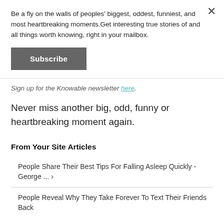Be a fly on the walls of peoples' biggest, oddest, funniest, and most heartbreaking moments.Get interesting true stories of and all things worth knowing, right in your mailbox.
Subscribe
Sign up for the Knowable newsletter here.
Never miss another big, odd, funny or heartbreaking moment again.
From Your Site Articles
People Share Their Best Tips For Falling Asleep Quickly - George ... ›
People Reveal Why They Take Forever To Text Their Friends Back